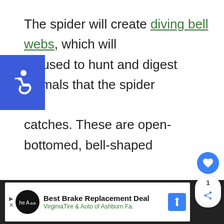The spider will create diving bell webs, which will be used to hunt and digest animals that the spider catches. These are open-bottomed, bell-shaped webs that are used for different purposes – they are used underwater to catch animals of prey, for mating, and for laying eggs.
[Figure (other): Accessibility icon: white wheelchair symbol on blue square background]
[Figure (other): Social media overlay: blue circle heart/like button, number 1, and share button]
[Figure (other): Advertisement bar: Best Brake Replacement Deal – VirginiaTire & Auto of Ashburn Fa.]